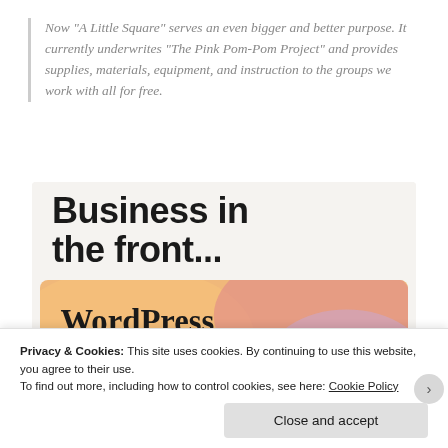Now "A Little Square" serves an even bigger and better purpose. It currently underwrites "The Pink Pom-Pom Project" and provides supplies, materials, equipment, and instruction to the groups we work with all for free.
[Figure (screenshot): Screenshot of a webpage advertisement. Top section on light gray background shows bold text 'Business in the front...' and below it an orange/pink gradient banner with serif bold text 'WordPress in the back.' with a partial logo visible at the bottom.]
Privacy & Cookies: This site uses cookies. By continuing to use this website, you agree to their use.
To find out more, including how to control cookies, see here: Cookie Policy
Close and accept